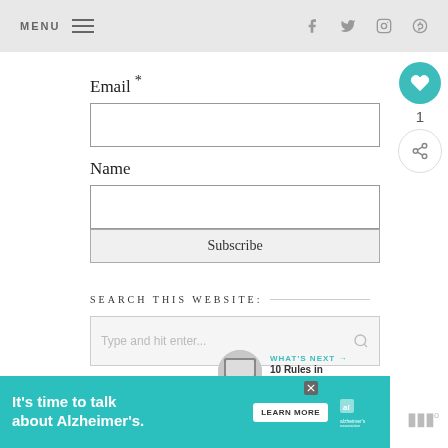MENU  [hamburger icon]  [facebook icon]  [twitter icon]  [instagram icon]  [pinterest icon]
Email *
Name
Subscribe
SEARCH THIS WEBSITE:
Type and hit enter...
WHAT'S NEXT → 10 Rules in Achieving th...
LIKE ON FACEBOOK
[Figure (infographic): Alzheimer's Association advertisement banner: 'It's time to talk about Alzheimer's.' with LEARN MORE button and Alzheimer's Association logo]